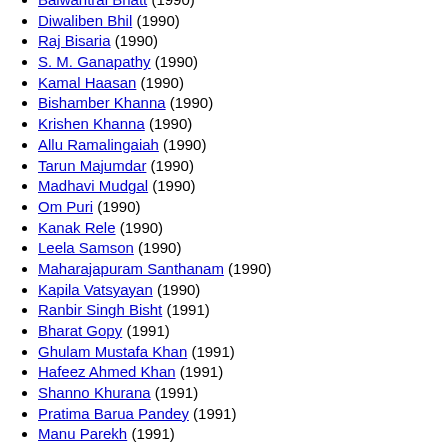Balwantrai Bhatt (1990)
Diwaliben Bhil (1990)
Raj Bisaria (1990)
S. M. Ganapathy (1990)
Kamal Haasan (1990)
Bishamber Khanna (1990)
Krishen Khanna (1990)
Allu Ramalingaiah (1990)
Tarun Majumdar (1990)
Madhavi Mudgal (1990)
Om Puri (1990)
Kanak Rele (1990)
Leela Samson (1990)
Maharajapuram Santhanam (1990)
Kapila Vatsyayan (1990)
Ranbir Singh Bisht (1991)
Bharat Gopy (1991)
Ghulam Mustafa Khan (1991)
Hafeez Ahmed Khan (1991)
Shanno Khurana (1991)
Pratima Barua Pandey (1991)
Manu Parekh (1991)
Shivkumar Sharma (1991)
Gurcharan Singh (painter) (1991)
Sharda Sinha (1991)